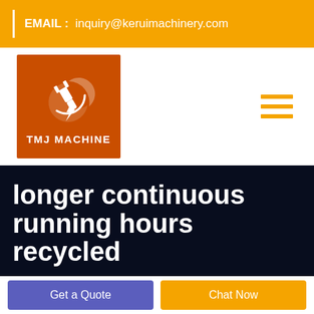EMAIL : inquiry@keruimachinery.com
[Figure (logo): TMJ Machine logo: orange/brown square with white electrical plug icon and crescent, text 'TMJ MACHINE' below]
longer continuous running hours recycled
Get a Quote
Chat Now